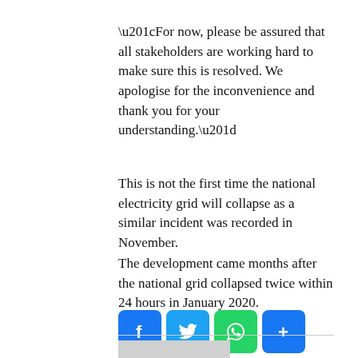“For now, please be assured that all stakeholders are working hard to make sure this is resolved. We apologise for the inconvenience and thank you for your understanding.”
This is not the first time the national electricity grid will collapse as a similar incident was recorded in November.
The development came months after the national grid collapsed twice within 24 hours in January 2020.
[Figure (other): Social sharing buttons: Facebook, Twitter, WhatsApp, Share]